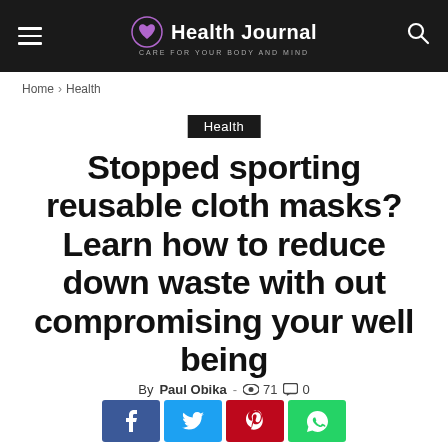Health Journal — CARE FOR YOUR BODY AND MIND
Home > Health
Health
Stopped sporting reusable cloth masks? Learn how to reduce down waste with out compromising your well being
By Paul Obika - 👁 71 💬 0